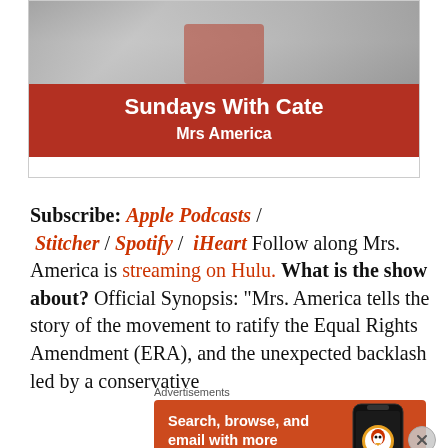[Figure (photo): Top portion of a promotional image showing a person, partially cropped]
Sundays With Cate
Mrs America
Subscribe: Apple Podcasts / Stitcher / Spotify / iHeart Follow along Mrs. America is streaming on Hulu. What is the show about? Official Synopsis: "Mrs. America tells the story of the movement to ratify the Equal Rights Amendment (ERA), and the unexpected backlash led by a conservative...
Advertisements
[Figure (screenshot): DuckDuckGo advertisement banner: Search, browse, and email with more privacy. All in One Free App. Shows phone with DuckDuckGo logo.]